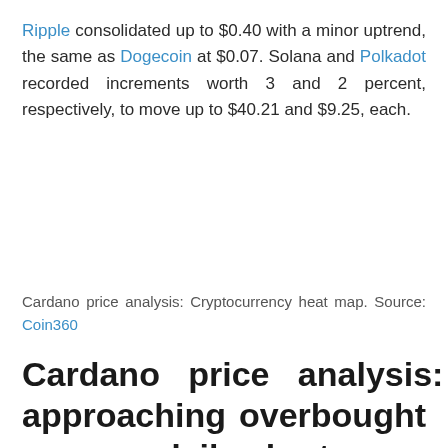Ripple consolidated up to $0.40 with a minor uptrend, the same as Dogecoin at $0.07. Solana and Polkadot recorded increments worth 3 and 2 percent, respectively, to move up to $40.21 and $9.25, each.
Cardano price analysis: Cryptocurrency heat map. Source: Coin360
Cardano price analysis: RSI approaching overbought zone on daily chart